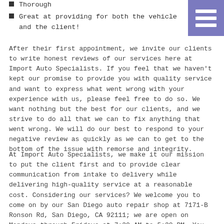Thorough
Great at providing for both the vehicle and the client!
After their first appointment, we invite our clients to write honest reviews of our services here at Import Auto Specialists. If you feel that we haven't kept our promise to provide you with quality service and want to express what went wrong with your experience with us, please feel free to do so. We want nothing but the best for our clients, and we strive to do all that we can to fix anything that went wrong. We will do our best to respond to your negative review as quickly as we can to get to the bottom of the issue with remorse and integrity.
At Import Auto Specialists, we make it our mission to put the client first and to provide clear communication from intake to delivery while delivering high-quality service at a reasonable cost. Considering our services? We welcome you to come on by our San Diego auto repair shop at 7171-B Ronson Rd, San Diego, CA 92111; we are open on Mondays through Fridays at 7:30 AM to 5:30 PM. You can also call at 858-576-7186 or schedule an appointment here for your vehicle. We are excited to have you as a valued client here at Import Auto Specialists!